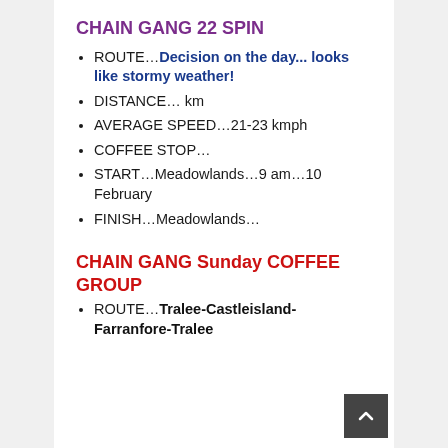CHAIN GANG 22 SPIN
ROUTE…Decision on the day... looks like stormy weather!
DISTANCE… km
AVERAGE SPEED…21-23 kmph
COFFEE STOP…
START…Meadowlands…9 am…10 February
FINISH…Meadowlands…
CHAIN GANG Sunday COFFEE GROUP
ROUTE…Tralee-Castleisland-Farranfore-Tralee